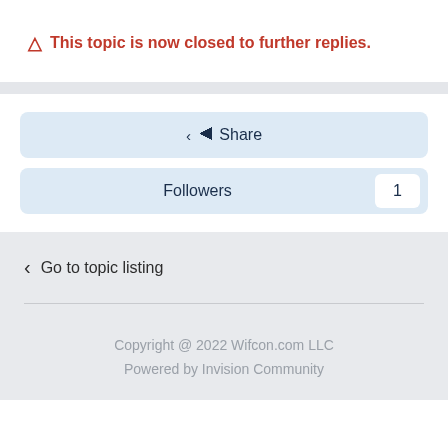⚠ This topic is now closed to further replies.
Share
Followers 1
Go to topic listing
Copyright @ 2022 Wifcon.com LLC
Powered by Invision Community